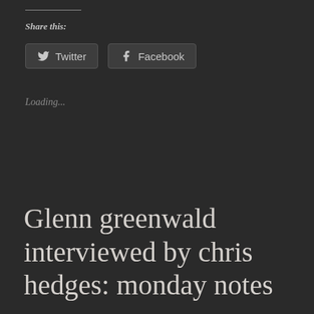Share this:
[Figure (screenshot): Twitter and Facebook share buttons on dark background]
Loading...
Glenn greenwald interviewed by chris hedges: monday notes